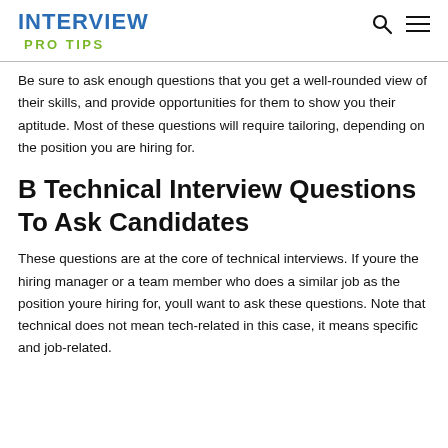INTERVIEW PRO TIPS
Be sure to ask enough questions that you get a well-rounded view of their skills, and provide opportunities for them to show you their aptitude. Most of these questions will require tailoring, depending on the position you are hiring for.
B Technical Interview Questions To Ask Candidates
These questions are at the core of technical interviews. If youre the hiring manager or a team member who does a similar job as the position youre hiring for, youll want to ask these questions. Note that technical does not mean tech-related in this case, it means specific and job-related.